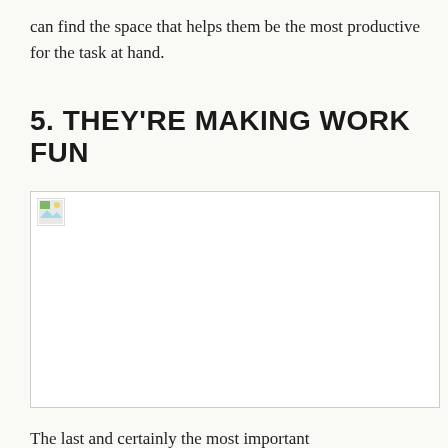can find the space that helps them be the most productive for the task at hand.
5. THEY'RE MAKING WORK FUN
[Figure (photo): Broken/missing image placeholder with small image icon in top-left corner]
The last and certainly the most important